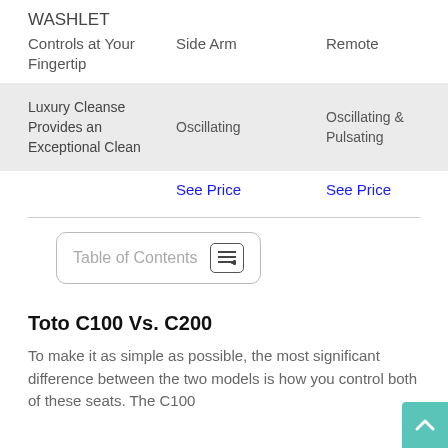WASHLET
| Controls at Your Fingertip | Side Arm | Remote |
| --- | --- | --- |
| Luxury Cleanse Provides an Exceptional Clean | Oscillating | Oscillating & Pulsating |
See Price   See Price
Table of Contents
Toto C100 Vs. C200
To make it as simple as possible, the most significant difference between the two models is how you control both of these seats. The C100